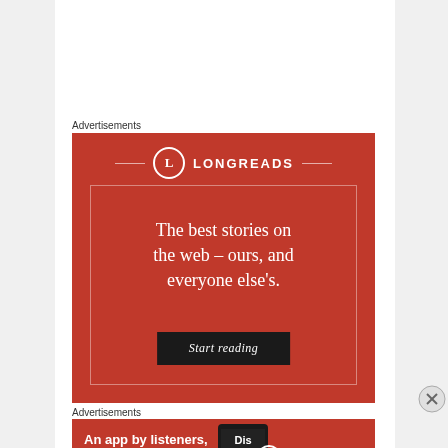Advertisements
[Figure (illustration): Longreads advertisement on red background. White circle logo with L, text LONGREADS, tagline: The best stories on the web – ours, and everyone else's. Black button: Start reading.]
Advertisements
[Figure (illustration): Pocket Casts advertisement. Red background. Text: An app by listeners, for listeners. Pocket Casts logo on right. Phone image in center.]